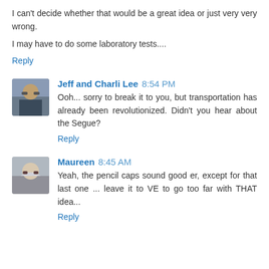I can't decide whether that would be a great idea or just very very wrong.
I may have to do some laboratory tests....
Reply
Jeff and Charli Lee 8:54 PM
Ooh... sorry to break it to you, but transportation has already been revolutionized. Didn't you hear about the Segue?
Reply
Maureen 8:45 AM
Yeah, the pencil caps sound good er, except for that last one ... leave it to VE to go too far with THAT idea...
Reply